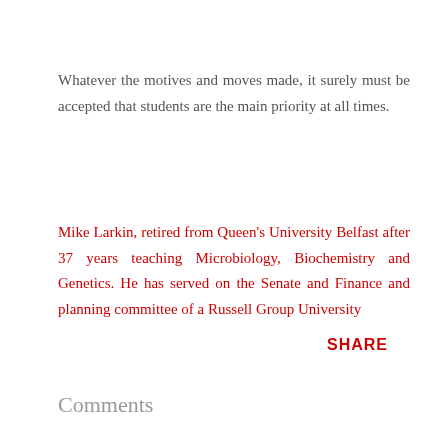Whatever the motives and moves made, it surely must be accepted that students are the main priority at all times.
Mike Larkin, retired from Queen's University Belfast after 37 years teaching Microbiology, Biochemistry and Genetics. He has served on the Senate and Finance and planning committee of a Russell Group University
SHARE
Comments